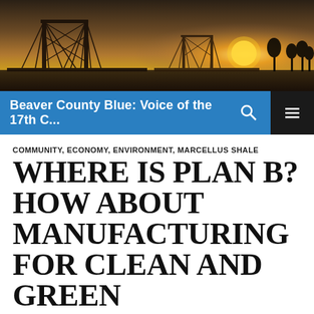[Figure (photo): Bridge silhouette at sunset over a river, with warm golden sky and dramatic clouds]
Beaver County Blue: Voice of the 17th C...
COMMUNITY, ECONOMY, ENVIRONMENT, MARCELLUS SHALE
WHERE IS PLAN B? HOW ABOUT MANUFACTURING FOR CLEAN AND GREEN
Privacy & Cookies: This site uses cookies. By continuing to use this website, you agree to their use.
To find out more, including how to control cookies, see here: Cookie Policy
Close and accept
AUGUST 16, 2014   CARLDAVIDSON   2 COMMENTS